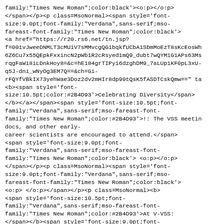family:"Times New Roman";color:black'><o:p></o:p>
</span></p><p class=MsoNormal><span style='font-size:9.0pt;font-family:"Verdana",sans-serif;mso-fareast-font-family:"Times New Roman";color:black'>
<a href="https://r20.rs6.net/tn.jsp?f=001vJweeDNMLT3cMUiV7sMMvcgQGibqkfUCbA1SbmMoEzT8sKcEosWh6Z6Cu7x55QEpkFxxincN2pWb1R2cRsyed1mQ9_dubt7wQYM1G1APs63Ms rqgFaWi8iLDnkHoy8=&c=hE184grTIPyi6dzghDM9_7aLUp1KF0pL3xUq5J-dni_wNyOg3EM7Q==&ch=Gi-rFQYfVBkIX73yehWae3Doz2dv2mHIr8dp99tQsK5fASDTCskQmw==" ta<b><span style='font-size:10.5pt;color:#2B4D93'>Celebrating Diversity</span></b></a></span><span style='font-size:10.5pt;font-family:"Verdana",sans-serif;mso-fareast-font-family:"Times New Roman";color:#2B4D93'>!: The VSS meetin docs, and other early-career scientists are encouraged to attend.</span>
<span style='font-size:9.0pt;font-family:"Verdana",sans-serif;mso-fareast-font-family:"Times New Roman";color:black'> <o:p></o:p>
</span></p><p class=MsoNormal><span style='font-size:9.0pt;font-family:"Verdana",sans-serif;mso-fareast-font-family:"Times New Roman";color:black'>
<o:p> </o:p></span></p><p class=MsoNormal><b>
<span style='font-size:10.5pt;font-family:"Verdana",sans-serif;mso-fareast-font-family:"Times New Roman";color:#2B4D93'>At V-VSS:
</span></b><span style='font-size:9.0pt;font-family:"Verdana",sans-serif;mso-fareast-font-family:"Times New Roman";color:black'><o:p></o:p>